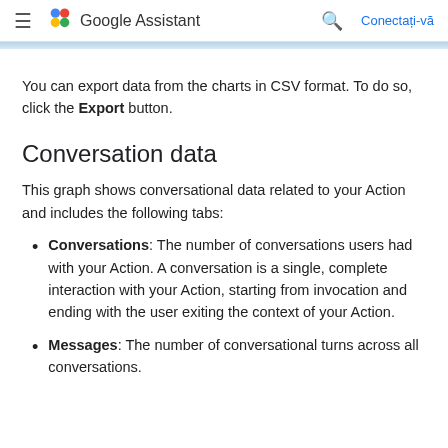Google Assistant  Conectați-vă
You can export data from the charts in CSV format. To do so, click the Export button.
Conversation data
This graph shows conversational data related to your Action and includes the following tabs:
Conversations: The number of conversations users had with your Action. A conversation is a single, complete interaction with your Action, starting from invocation and ending with the user exiting the context of your Action.
Messages: The number of conversational turns across all conversations.